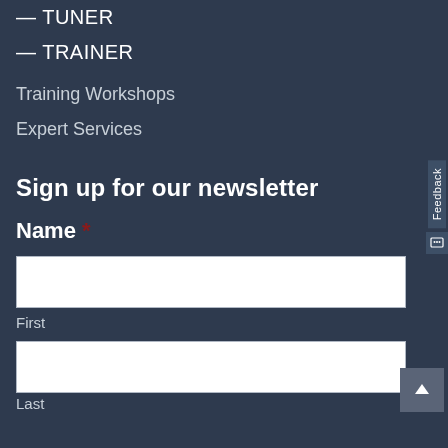— TUNER
— TRAINER
Training Workshops
Expert Services
Sign up for our newsletter
Name *
First
Last